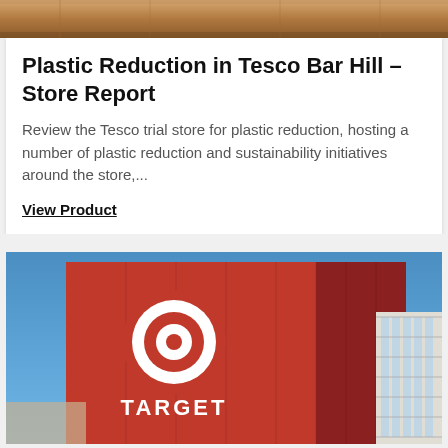[Figure (photo): Top portion of a store image, warm toned interior/exterior]
Plastic Reduction in Tesco Bar Hill – Store Report
Review the Tesco trial store for plastic reduction, hosting a number of plastic reduction and sustainability initiatives around the store,...
View Product
[Figure (photo): Target store exterior showing red facade with Target bullseye logo and TARGET text, blue sky background]